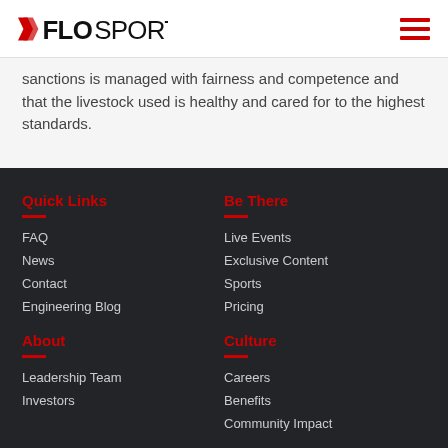FloSports
sanctions is managed with fairness and competence and that the livestock used is healthy and cared for to the highest standards.
Quick Links
FAQ
News
Contact
Engineering Blog
Be There
Live Events
Exclusive Content
Sports
Pricing
About
Leadership Team
Investors
Culture
Careers
Benefits
Community Impact